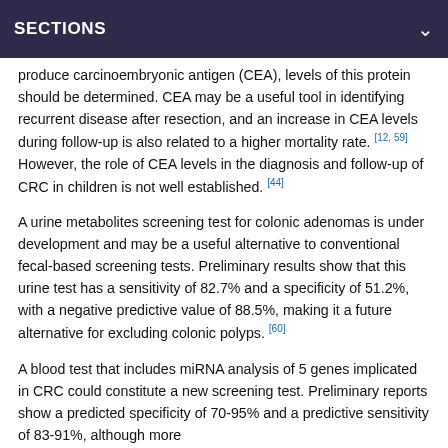SECTIONS
produce carcinoembryonic antigen (CEA), levels of this protein should be determined. CEA may be a useful tool in identifying recurrent disease after resection, and an increase in CEA levels during follow-up is also related to a higher mortality rate. [12, 59] However, the role of CEA levels in the diagnosis and follow-up of CRC in children is not well established. [44]
A urine metabolites screening test for colonic adenomas is under development and may be a useful alternative to conventional fecal-based screening tests. Preliminary results show that this urine test has a sensitivity of 82.7% and a specificity of 51.2%, with a negative predictive value of 88.5%, making it a future alternative for excluding colonic polyps. [60]
A blood test that includes miRNA analysis of 5 genes implicated in CRC could constitute a new screening test. Preliminary reports show a predicted specificity of 70-95% and a predictive sensitivity of 83-91%, although more